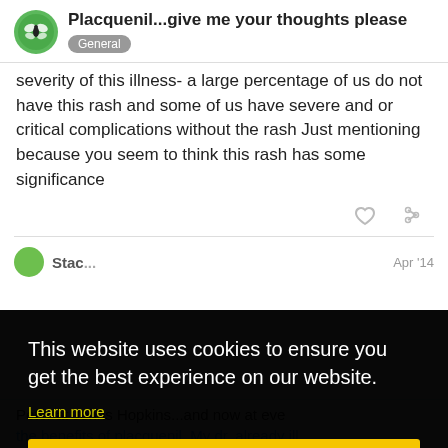Placquenil...give me your thoughts please | General
severity of this illness- a large percentage of us do not have this rash and some of us have severe and or critical complications without the rash Just mentioning because you seem to think this rash has some significance
Apr '14
[Figure (screenshot): Cookie consent banner overlay with text: This website uses cookies to ensure you get the best experience on our website. Learn more. Got it! button in yellow.]
Peter at Johns Hopkins...and now at eve the benefits of placquenil, My dr. already ill